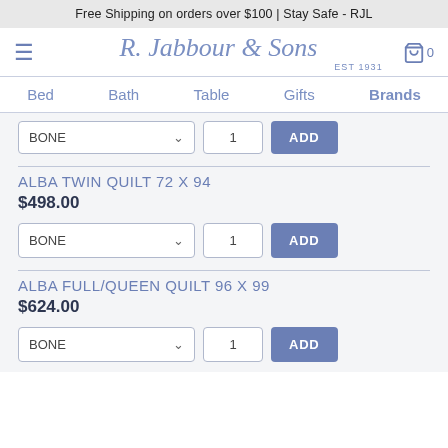Free Shipping on orders over $100 | Stay Safe - RJL
[Figure (logo): R. Jabbour & Sons EST 1931 logo with hamburger menu and cart icon]
Bed  Bath  Table  Gifts  Brands
ALBA TWIN QUILT 72 X 94
$498.00
BONE  1  ADD
ALBA FULL/QUEEN QUILT 96 X 99
$624.00
BONE  1  ADD